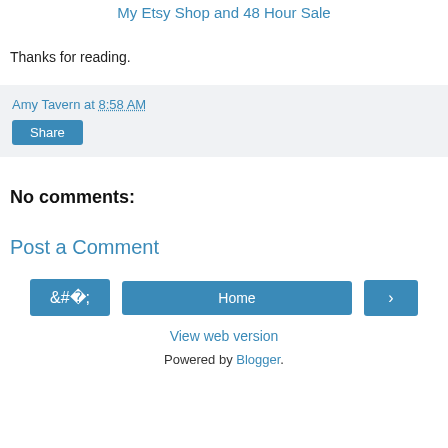My Etsy Shop and 48 Hour Sale
Thanks for reading.
Amy Tavern at 8:58 AM
Share
No comments:
Post a Comment
‹  Home  ›
View web version
Powered by Blogger.